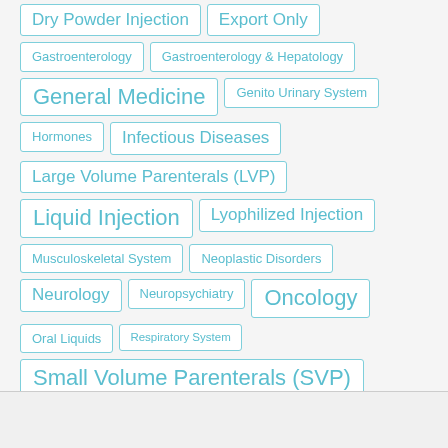Dry Powder Injection
Export Only
Gastroenterology
Gastroenterology & Hepatology
General Medicine
Genito Urinary System
Hormones
Infectious Diseases
Large Volume Parenterals (LVP)
Liquid Injection
Lyophilized Injection
Musculoskeletal System
Neoplastic Disorders
Neurology
Neuropsychiatry
Oncology
Oral Liquids
Respiratory System
Small Volume Parenterals (SVP)
Suppositories
Tablets Capsules
Vitamins